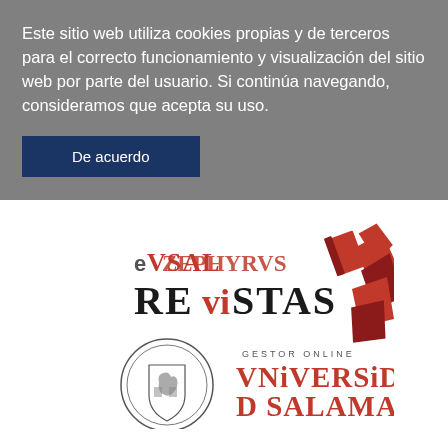Este sitio web utiliza cookies propias y de terceros para el correcto funcionamiento y visualización del sitio web por parte del usuario. Si continúa navegando, consideramos que acepta su uso.
De acuerdo
[Figure (logo): eVSAL ZEPHYRVS REVISTAS GESTOR ONLINE VNIVERSIDAD DE SALAMANCA logo with university crest and red ribbon graphic]